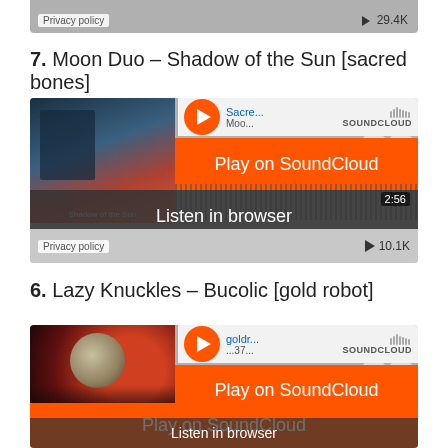[Figure (screenshot): Cropped top of a SoundCloud player embed showing privacy policy label and 29.4K play count]
7. Moon Duo – Shadow of the Sun [sacred bones]
[Figure (screenshot): SoundCloud embedded player for Moon Duo – Shadow of the Sun [sacred bones] showing Play on SoundCloud button, Listen in browser option, and 10.1K play count. Duration 2:56.]
6. Lazy Knuckles – Bucolic [gold robot]
[Figure (screenshot): SoundCloud embedded player for Lazy Knuckles – Bucolic [gold robot] showing Play on SoundCloud button, duration 3:22.]